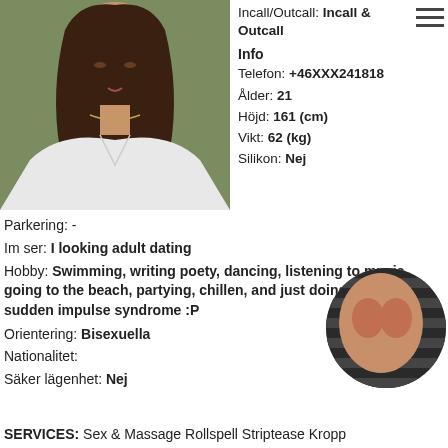[Figure (photo): Portrait photo of a young woman with long dark hair wearing a white ribbed top, outdoors background]
Incall/Outcall: Incall & Outcall
Info
Telefon: +46XXX241818
Ålder: 21
Höjd: 161 (cm)
Vikt: 62 (kg)
Silikon: Nej
Parkering: -
Im ser: I looking adult dating
Hobby: Swimming, writing poety, dancing, listening to music, going to the beach, partying, chillen, and just doing w/e I have sudden impulse syndrome :P
Orientering: Bisexuella
Nationalitet:
Säker lägenhet: Nej
[Figure (photo): Circular cropped photo showing a body]
SERVICES: Sex & Massage Rollspell Striptease Kropp